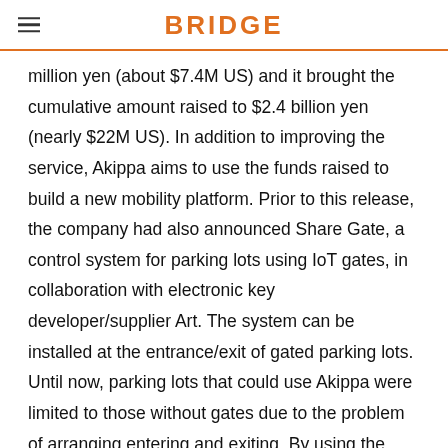BRIDGE
million yen (about $7.4M US) and it brought the cumulative amount raised to $2.4 billion yen (nearly $22M US). In addition to improving the service, Akippa aims to use the funds raised to build a new mobility platform. Prior to this release, the company had also announced Share Gate, a control system for parking lots using IoT gates, in collaboration with electronic key developer/supplier Art. The system can be installed at the entrance/exit of gated parking lots. Until now, parking lots that could use Akippa were limited to those without gates due to the problem of arranging entering and exiting. By using the system, Akippa users can book a parking space, connect to the system via Bluetooth, enter the access code generated by the app, and successfully